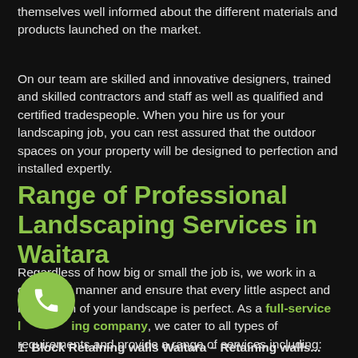themselves well informed about the different materials and products launched on the market.
On our team are skilled and innovative designers, trained and skilled contractors and staff as well as qualified and certified tradespeople. When you hire us for your landscaping job, you can rest assured that the outdoor spaces on your property will be designed to perfection and installed expertly.
Range of Professional Landscaping Services in Waitara
Regardless of how big or small the job is, we work in a concerted manner and ensure that every little aspect and installation of your landscape is perfect. As a full-service landscaping company, we cater to all types of requirements and provide a range of services including:
1. Block Retaining walls Waitara – Retaining walls...